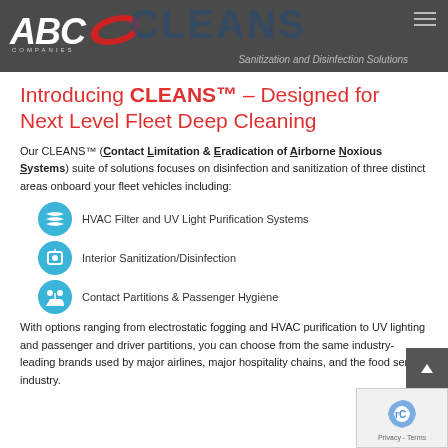[Figure (logo): ABC Companies logo with CLEANS wordmark and 'Sanitization and Disinfection Solutions' subtitle on dark gray header bar]
Introducing CLEANS™ – Designed for Next Level Fleet Deep Cleaning
Our CLEANS™ (Contact Limitation & Eradication of Airborne Noxious Systems) suite of solutions focuses on disinfection and sanitization of three distinct areas onboard your fleet vehicles including:
HVAC Filter and UV Light Purification Systems
Interior Sanitization/Disinfection
Contact Partitions & Passenger Hygiene
With options ranging from electrostatic fogging and HVAC purification to UV lighting and passenger and driver partitions, you can choose from the same industry-leading brands used by major airlines, major hospitality chains, and the food service industry.